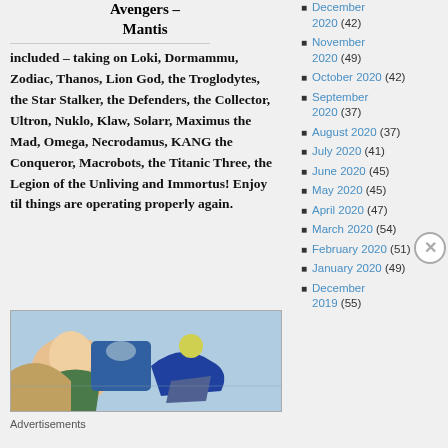Avengers – Mantis included – taking on Loki, Dormammu, Zodiac, Thanos, Lion God, the Troglodytes, the Star Stalker, the Defenders, the Collector, Ultron, Nuklo, Klaw, Solarr, Maximus the Mad, Omega, Necrodamus, KANG the Conqueror, Macrobots, the Titanic Three, the Legion of the Unliving and Immortus! Enjoy til things are operating properly again.
[Figure (illustration): Comic book illustration showing colorful superhero action scene]
Advertisements
December 2020 (42)
November 2020 (49)
October 2020 (42)
September 2020 (37)
August 2020 (37)
July 2020 (41)
June 2020 (45)
May 2020 (45)
April 2020 (47)
March 2020 (54)
February 2020 (51)
January 2020 (49)
December 2019 (55)